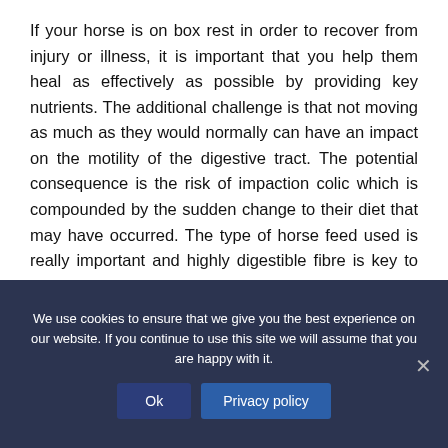If your horse is on box rest in order to recover from injury or illness, it is important that you help them heal as effectively as possible by providing key nutrients. The additional challenge is that not moving as much as they would normally can have an impact on the motility of the digestive tract. The potential consequence is the risk of impaction colic which is compounded by the sudden change to their diet that may have occurred. The type of horse feed used is really important and highly digestible fibre is key to avoiding impactions.
We use cookies to ensure that we give you the best experience on our website. If you continue to use this site we will assume that you are happy with it.